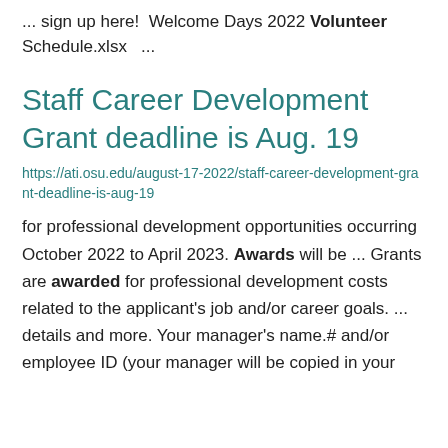... sign up here!  Welcome Days 2022 Volunteer Schedule.xlsx  ...
Staff Career Development Grant deadline is Aug. 19
https://ati.osu.edu/august-17-2022/staff-career-development-grant-deadline-is-aug-19
for professional development opportunities occurring October 2022 to April 2023. Awards will be ... Grants are awarded for professional development costs related to the applicant's job and/or career goals. ... details and more. Your manager's name.# and/or employee ID (your manager will be copied in your